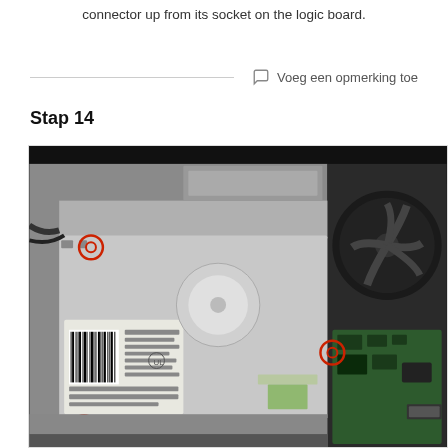connector up from its socket on the logic board.
Voeg een opmerking toe
Stap 14
[Figure (photo): Interior view of a MacBook showing optical drive bay with logic board components. Red circles highlight three screw or connector locations: top-left near cable, right side near fan, and bottom-left corner. Visible components include optical drive, cooling fan, logic board with connectors, and various cables.]